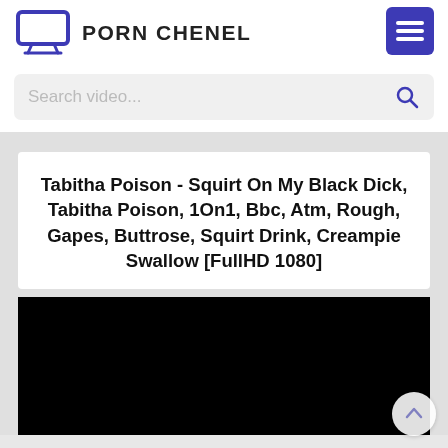[Figure (logo): Monitor/TV icon in purple/blue outline style]
PORN CHENEL
[Figure (screenshot): Blue menu hamburger button]
Search video...
Tabitha Poison - Squirt On My Black Dick, Tabitha Poison, 1On1, Bbc, Atm, Rough, Gapes, Buttrose, Squirt Drink, Creampie Swallow [FullHD 1080]
[Figure (photo): Black video player area]